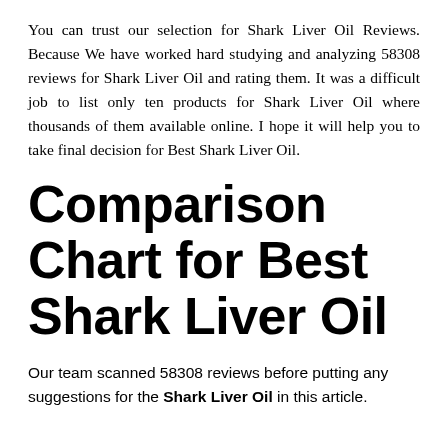You can trust our selection for Shark Liver Oil Reviews. Because We have worked hard studying and analyzing 58308 reviews for Shark Liver Oil and rating them. It was a difficult job to list only ten products for Shark Liver Oil where thousands of them available online. I hope it will help you to take final decision for Best Shark Liver Oil.
Comparison Chart for Best Shark Liver Oil
Our team scanned 58308 reviews before putting any suggestions for the Shark Liver Oil in this article.